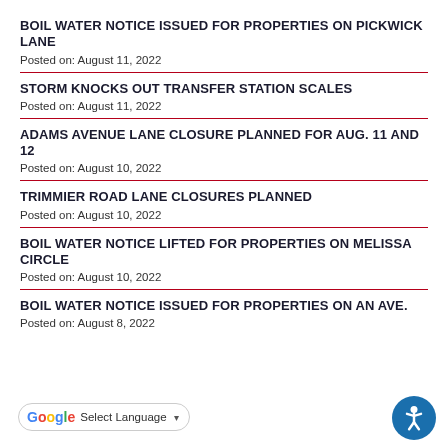BOIL WATER NOTICE ISSUED FOR PROPERTIES ON PICKWICK LANE
Posted on: August 11, 2022
STORM KNOCKS OUT TRANSFER STATION SCALES
Posted on: August 11, 2022
ADAMS AVENUE LANE CLOSURE PLANNED FOR AUG. 11 AND 12
Posted on: August 10, 2022
TRIMMIER ROAD LANE CLOSURES PLANNED
Posted on: August 10, 2022
BOIL WATER NOTICE LIFTED FOR PROPERTIES ON MELISSA CIRCLE
Posted on: August 10, 2022
BOIL WATER NOTICE ISSUED FOR PROPERTIES ON AN AVE.
Posted on: August 8, 2022